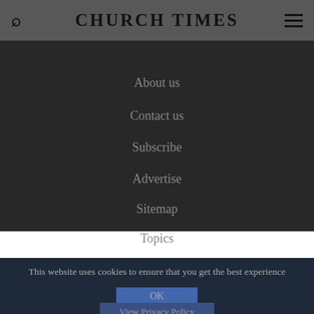CHURCH TIMES
About us
Contact us
Subscribe
Advertise
Sitemap
Topics
This website uses cookies to ensure that you get the best experience
OK
View Privacy Policy